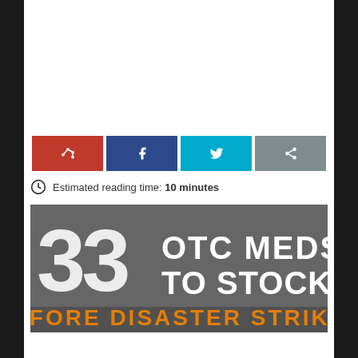[Figure (infographic): Social share buttons: red (Pinterest), dark blue (Facebook), cyan (Twitter), gray (share icon)]
Estimated reading time: 10 minutes
[Figure (infographic): Infographic with distressed text on concrete background: '33 OTC MEDS TO STOCKPILE BEFORE DISASTER STRIKES']